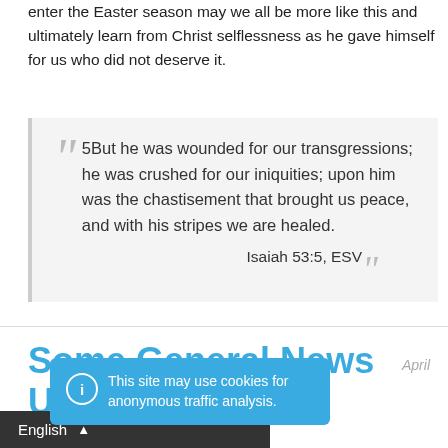enter the Easter season may we all be more like this and ultimately learn from Christ selflessness as he gave himself for us who did not deserve it.
5But he was wounded for our transgressions; he was crushed for our iniquities; upon him was the chastisement that brought us peace, and with his stripes we are healed.

Isaiah 53:5, ESV
Some General News Updates
This site may use cookies for anonymous traffic analysis.
English
April